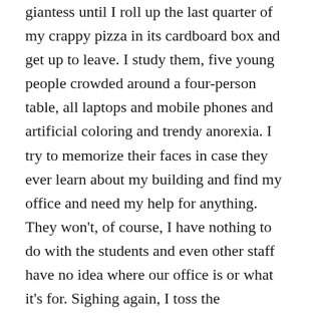giantess until I roll up the last quarter of my crappy pizza in its cardboard box and get up to leave. I study them, five young people crowded around a four-person table, all laptops and mobile phones and artificial coloring and trendy anorexia. I try to memorize their faces in case they ever learn about my building and find my office and need my help for anything. They won't, of course, I have nothing to do with the students and even other staff have no idea where our office is or what it's for. Sighing again, I toss the pizza/cardboard roll into compost and sulk out of the cafeteria.